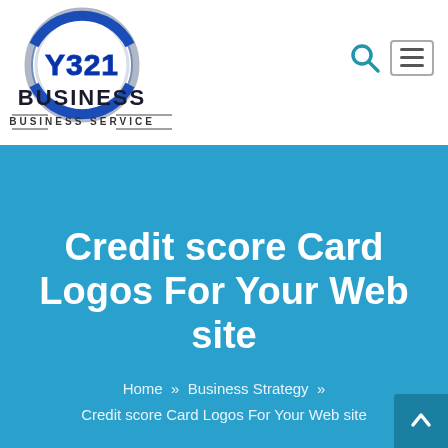[Figure (logo): Y321 Business Service logo — circular silver/blue emblem with stylized Y321 text and 'BUSINESS / BUSINESS SERVICE' text below]
Credit score Card Logos For Your Web site
Home » Business Strategy » Credit score Card Logos For Your Web site